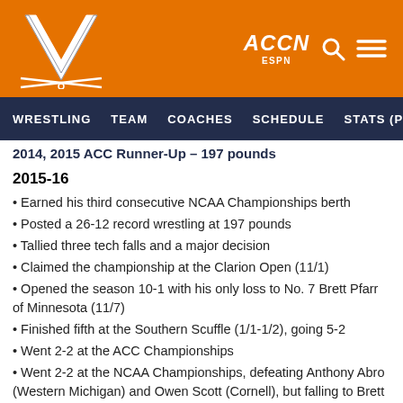WRESTLING  TEAM  COACHES  SCHEDULE  STATS (PDF)  NE...
2014, 2015 ACC Runner-Up – 197 pounds
2015-16
Earned his third consecutive NCAA Championships berth
Posted a 26-12 record wrestling at 197 pounds
Tallied three tech falls and a major decision
Claimed the championship at the Clarion Open (11/1)
Opened the season 10-1 with his only loss to No. 7 Brett Pfarr of Minnesota (11/7)
Finished fifth at the Southern Scuffle (1/1-1/2), going 5-2
Went 2-2 at the ACC Championships
Went 2-2 at the NCAA Championships, defeating Anthony Abro (Western Michigan) and Owen Scott (Cornell), but falling to Brett Pfarr (Minnesota) and Jared